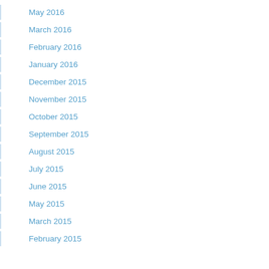May 2016
March 2016
February 2016
January 2016
December 2015
November 2015
October 2015
September 2015
August 2015
July 2015
June 2015
May 2015
March 2015
February 2015